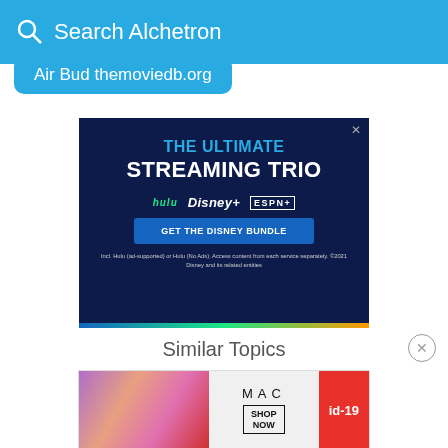Search Alchetron
Air Bud themoviedb.org
[Figure (infographic): Disney Bundle advertisement. Dark navy background with text 'THE ULTIMATE STREAMING TRIO' in blue and white bold text. Hulu, Disney+, and ESPN+ logos shown. Blue button reading 'GET THE DISNEY BUNDLE'. Fine print: 'Incl. Hulu (ad-supported) or Hulu (No Ads). Access content from each service separately. ©2021 Disney and its related entities']
Similar Topics
[Figure (infographic): MAC Cosmetics advertisement showing lipsticks in purple, pink and red colors with MAC logo and SHOP NOW button. Red id-19 badge on right.]